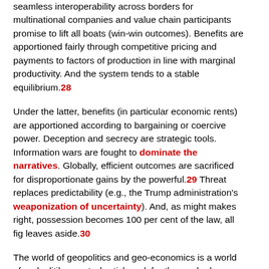seamless interoperability across borders for multinational companies and value chain participants promise to lift all boats (win-win outcomes). Benefits are apportioned fairly through competitive pricing and payments to factors of production in line with marginal productivity. And the system tends to a stable equilibrium.28
Under the latter, benefits (in particular economic rents) are apportioned according to bargaining or coercive power. Deception and secrecy are strategic tools. Information wars are fought to dominate the narratives. Globally, efficient outcomes are sacrificed for disproportionate gains by the powerful.29 Threat replaces predictability (e.g., the Trump administration's weaponization of uncertainty). And, as might makes right, possession becomes 100 per cent of the law, all fig leaves aside.30
The world of geopolitics and geo-economics is a world of realpolitik – nasty, brutish and, for those who have the misfortune to experience it, often life-shortening. Realpolitik leaves the taste of ash in one's mouth when